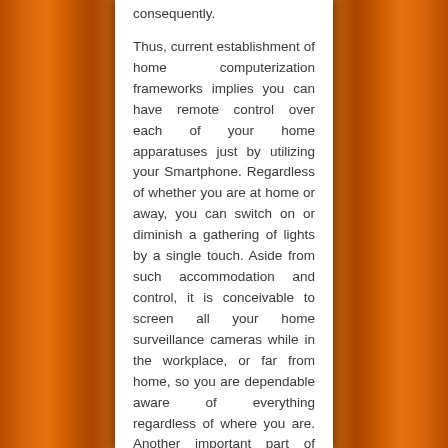consequently. Thus, current establishment of home computerization frameworks implies you can have remote control over each of your home apparatuses just by utilizing your Smartphone. Regardless of whether you are at home or away, you can switch on or diminish a gathering of lights by a single touch. Aside from such accommodation and control, it is conceivable to screen all your home surveillance cameras while in the workplace, or far from home, so you are dependable aware of everything regardless of where you are. Another important part of automation is vitality reserve funds that